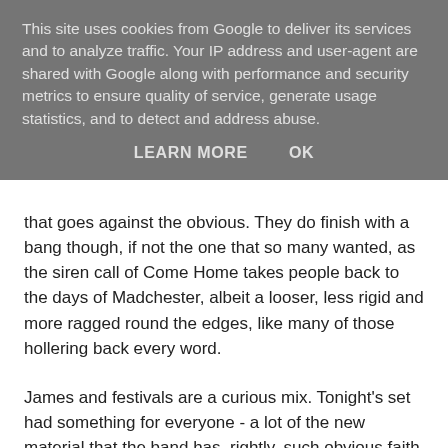This site uses cookies from Google to deliver its services and to analyze traffic. Your IP address and user-agent are shared with Google along with performance and security metrics to ensure quality of service, generate usage statistics, and to detect and address abuse.
LEARN MORE   OK
that goes against the obvious. They do finish with a bang though, if not the one that so many wanted, as the siren call of Come Home takes people back to the days of Madchester, albeit a looser, less rigid and more ragged round the edges, like many of those hollering back every word.
James and festivals are a curious mix. Tonight's set had something for everyone - a lot of the new material that the band has, rightly, such obvious faith in, many of their best known songs and the occasional curveball. Tim's voice holds up well, helped by the set list selection which in its own way brings variety in. Some will have been disappointed by the omission of the likes of Sit Down, She's A Star, Tomorrow,